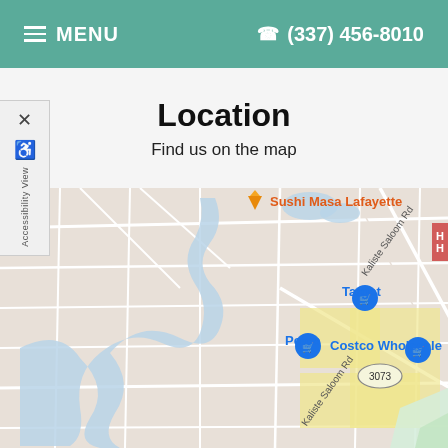☰ MENU   ☎ (337) 456-8010
Location
Find us on the map
[Figure (map): Google Maps view of Sushi Masa Lafayette area showing Target, Petco, Costco Wholesale, Kaliste Saloom Rd, road 3073, and a river/bayou winding through the area.]